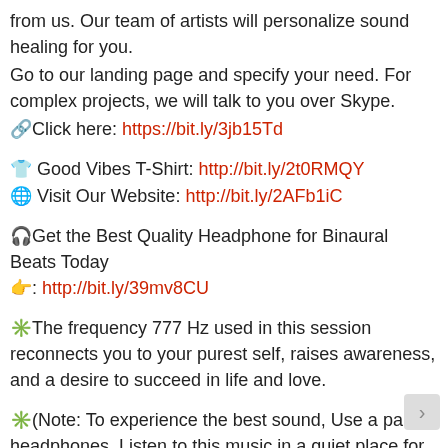from us. Our team of artists will personalize sound healing for you.
Go to our landing page and specify your need. For complex projects, we will talk to you over Skype.
🔗Click here: https://bit.ly/3jb15Td
👕 Good Vibes T-Shirt: http://bit.ly/2t0RMQY
🌐 Visit Our Website: http://bit.ly/2AFb1iC
🎧Get the Best Quality Headphone for Binaural Beats Today 👉: http://bit.ly/39mv8CU
✳️The frequency 777 Hz used in this session reconnects you to your purest self, raises awareness, and a desire to succeed in life and love.
✳️(Note: To experience the best sound, Use a pair of headphones. Listen to this music in a quiet place for at least